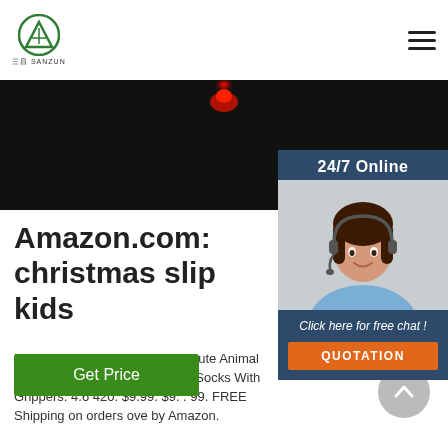三昌 SANZUN logo and navigation menu
[Figure (photo): Dark hero banner image with a red glowing element in the center top area]
[Figure (infographic): 24/7 Online chat widget with a woman wearing a headset, 'Click here for free chat!' text, and an orange QUOTATION button]
Amazon.com: christmas slippers kids
Kids Boys Girls Slipper Socks Cute Animal Fuzzy Fleece Lining Christmas Socks With Grippers. 4.6 420. $9.99. $9. . 99. FREE Shipping on orders over by Amazon.
[Figure (other): Green 'Get Price' button]
[Figure (other): Grey circular back-to-top arrow button]